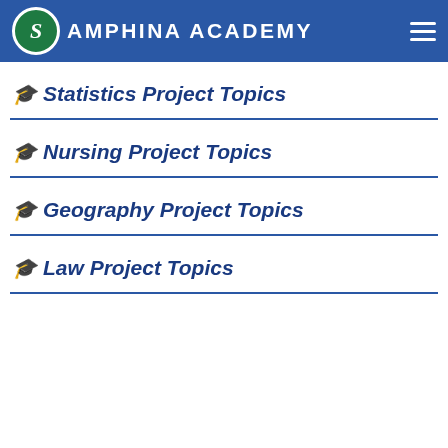Samphina Academy
Statistics Project Topics
Nursing Project Topics
Geography Project Topics
Law Project Topics